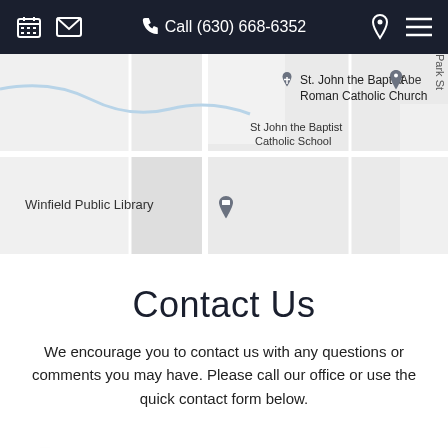Call (630) 668-6352
[Figure (map): Google Maps view showing St. John the Baptist Catholic School, St. John the Baptist Roman Catholic Church, Winfield Public Library, and Park St street labels.]
Contact Us
We encourage you to contact us with any questions or comments you may have. Please call our office or use the quick contact form below.
John Smith